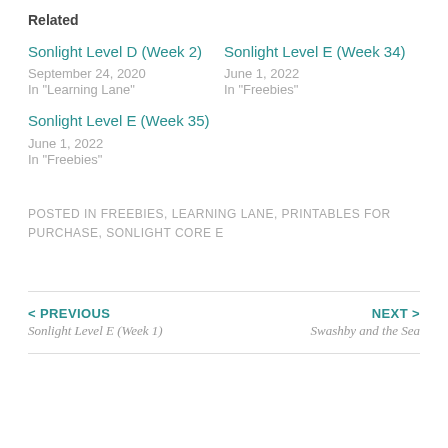Related
Sonlight Level D (Week 2)
September 24, 2020
In "Learning Lane"
Sonlight Level E (Week 34)
June 1, 2022
In "Freebies"
Sonlight Level E (Week 35)
June 1, 2022
In "Freebies"
POSTED IN FREEBIES, LEARNING LANE, PRINTABLES FOR PURCHASE, SONLIGHT CORE E
< PREVIOUS
Sonlight Level E (Week 1)
NEXT >
Swashby and the Sea